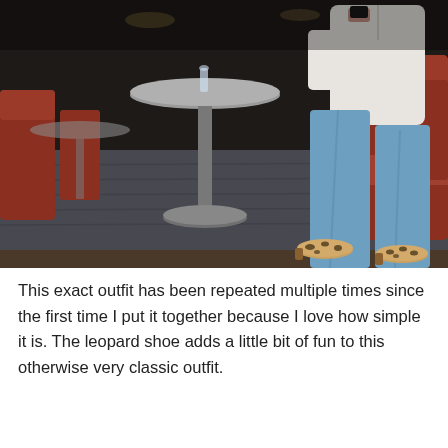[Figure (photo): A woman sitting in a rust-orange velvet chair at a restaurant, wearing a white shirt, blue jeans, and leopard print flats/ballet shoes. A round marble-top table on a metal pedestal is in front of her. The setting has a grey carpet and warm restaurant lighting.]
This exact outfit has been repeated multiple times since the first time I put it together because I love how simple it is. The leopard shoe adds a little bit of fun to this otherwise very classic outfit.